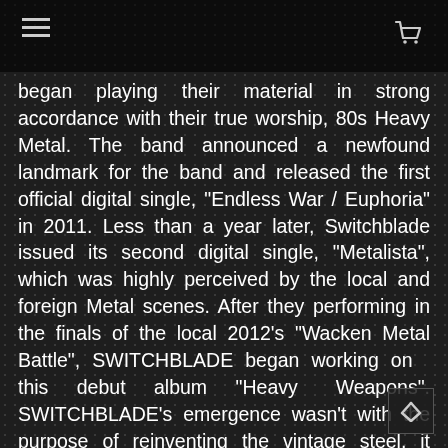[hamburger menu] [cart icon]
began playing their material in strong accordance with their true worship, 80s Heavy Metal. The band announced a newfound landmark for the band and released the first official digital single, “Endless War / Euphoria” in 2011. Less than a year later, Switchblade issued its second digital single, “Metalista”, which was highly perceived by the local and foreign Metal scenes. After they performing in the finals of the local 2012’s “Wacken Metal Battle”, SWITCHBLADE began working on this debut album "Heavy Weapons". SWITCHBLADE’s emergence wasn’t with the purpose of reinventing the vintage steel, it came to relive it and keeps the old fires burning. SWITCHBLADE aims to attain the same sparkles and enthusiasm that made the 80s Metal scene so great in a sense that it will sink in deep in today’s perception of Metal music. “Heavy Weapons” consists of nine tracks and a few of those